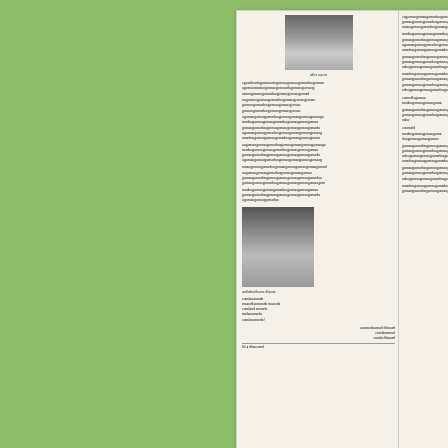[Figure (photo): Scanned Malayalam magazine page with two portrait photographs and Malayalam text in two columns. Top left shows a portrait of a woman, middle left shows a portrait of a man with glasses.]
ആർഷഭാരതത്തിന്റെ ഇരുണ്ടഭൂതകാലത്തിൽ ജ്ഞാനത്തിന്റെ
on August 02, 2016    No comments:
Labels: asan institute, bhasha institute, folklore academy, kadhakali, mk